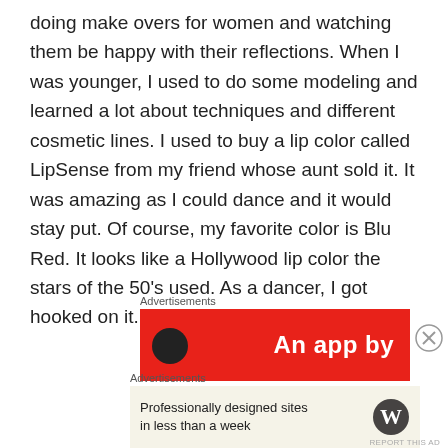doing make overs for women and watching them be happy with their reflections. When I was younger, I used to do some modeling and learned a lot about techniques and different cosmetic lines. I used to buy a lip color called LipSense from my friend whose aunt sold it. It was amazing as I could dance and it would stay put. Of course, my favorite color is Blu Red. It looks like a Hollywood lip color the stars of the 50's used. As a dancer, I got hooked on it.
[Figure (other): Advertisement banner: red background with text 'An app by' in white bold font and a dark circular icon on the left side]
[Figure (other): Advertisement banner: cream/beige background with text 'Professionally designed sites in less than a week' and WordPress logo on the right]